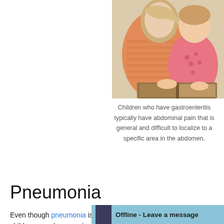[Figure (photo): A woman and a toddler reading a book together; the woman is wearing an orange striped top and the child is in a pink dotted outfit.]
Children who have gastroenteritis typically have abdominal pain that is general and difficult to localize to a specific area in the abdomen.
Pneumonia
Even though pneumonia is an infection involving the lungs, children can also experienc…